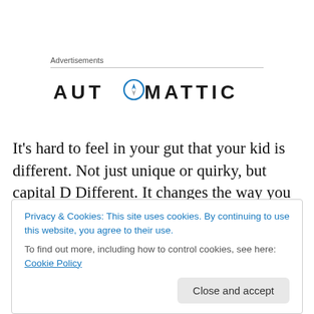Advertisements
[Figure (logo): Automattic logo with compass icon inside the second 'O']
It's hard to feel in your gut that your kid is different. Not just unique or quirky, but capital D Different. It changes the way you see your child even though you don't want it to. It gives you a feeling of shame and guilt (which your head
Privacy & Cookies: This site uses cookies. By continuing to use this website, you agree to their use.
To find out more, including how to control cookies, see here: Cookie Policy
you second guess yourself, your child, and the people